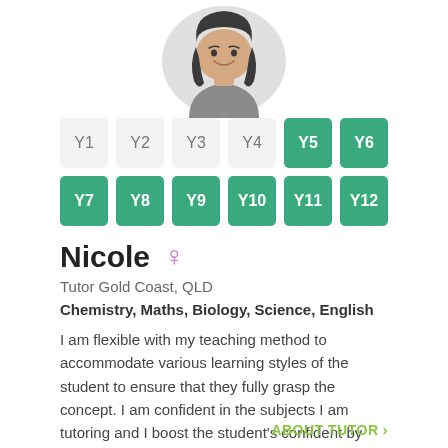[Figure (illustration): Cartoon illustration of a female tutor with dark hair, smiling, shown from the shoulders up inside a light grey circle background]
Y1 Y2 Y3 Y4 Y5 Y6 Y7 Y8 Y9 Y10 Y11 Y12 — year level selector buttons; Y5, Y6, Y7, Y8, Y9, Y10, Y11, Y12 active (green)
Nicole
Tutor Gold Coast, QLD
Chemistry, Maths, Biology, Science, English
I am flexible with my teaching method to accommodate various learning styles of the student to ensure that they fully grasp the concept. I am confident in the subjects I am tutoring and I boost the student's confident by clarifying any doubts they might have with the subject....
ABOUT TUTOR >